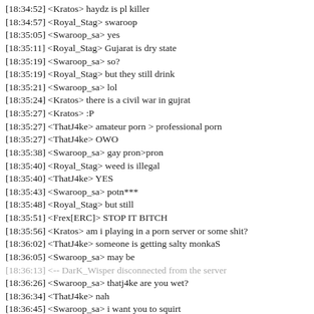[18:34:52] <Kratos> haydz is pl killer
[18:34:57] <Royal_Stag> swaroop
[18:35:05] <Swaroop_sa> yes
[18:35:11] <Royal_Stag> Gujarat is dry state
[18:35:19] <Swaroop_sa> so?
[18:35:19] <Royal_Stag> but they still drink
[18:35:21] <Swaroop_sa> lol
[18:35:24] <Kratos> there is a civil war in gujrat
[18:35:27] <Kratos> :P
[18:35:27] <ThatJ4ke> amateur porn > professional porn
[18:35:27] <ThatJ4ke> OWO
[18:35:38] <Swaroop_sa> gay pron>pron
[18:35:40] <Royal_Stag> weed is illegal
[18:35:40] <ThatJ4ke> YES
[18:35:43] <Swaroop_sa> potn***
[18:35:48] <Royal_Stag> but still
[18:35:51] <Frex[ERC]> STOP IT BITCH
[18:35:56] <Kratos> am i playing in a porn server or some shit?
[18:36:02] <ThatJ4ke> someone is getting salty monkaS
[18:36:05] <Swaroop_sa> may be
[18:36:13] <-- DarK_Wisper disconnected from the server
[18:36:26] <Swaroop_sa> thatj4ke are you wet?
[18:36:34] <ThatJ4ke> nah
[18:36:45] <Swaroop_sa> i want you to squirt
[18:36:53] <Swaroop_sa> ;)